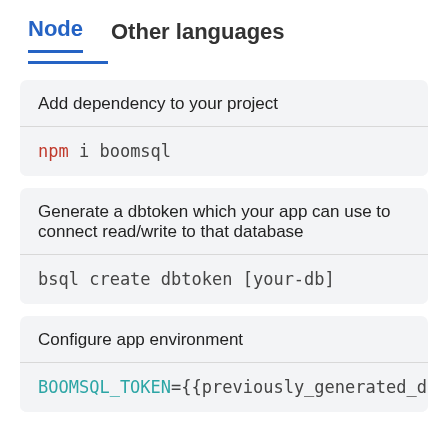Node   Other languages
Add dependency to your project
npm i boomsql
Generate a dbtoken which your app can use to connect read/write to that database
bsql create dbtoken [your-db]
Configure app environment
BOOMSQL_TOKEN={{previously_generated_db_toke